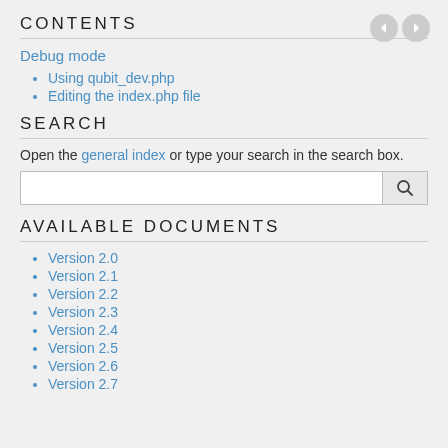CONTENTS
Debug mode
Using qubit_dev.php
Editing the index.php file
SEARCH
Open the general index or type your search in the search box.
AVAILABLE DOCUMENTS
Version 2.0
Version 2.1
Version 2.2
Version 2.3
Version 2.4
Version 2.5
Version 2.6
Version 2.7